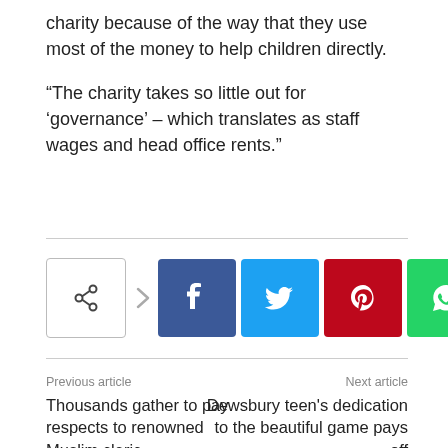charity because of the way that they use most of the money to help children directly.

“The charity takes so little out for ‘governance’ – which translates as staff wages and head office rents.”
[Figure (infographic): Social media share bar with share icon, arrow, and buttons for Facebook, Twitter, Pinterest, WhatsApp, Email, Tumblr, and Telegram]
Previous article
Thousands gather to pay respects to renowned Muslim cleric
Next article
Dewsbury teen's dedication to the beautiful game pays off